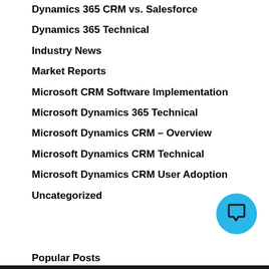Dynamics 365 CRM vs. Salesforce
Dynamics 365 Technical
Industry News
Market Reports
Microsoft CRM Software Implementation
Microsoft Dynamics 365 Technical
Microsoft Dynamics CRM – Overview
Microsoft Dynamics CRM Technical
Microsoft Dynamics CRM User Adoption
Uncategorized
Popular Posts